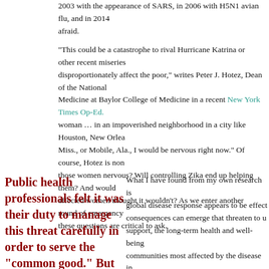2003 with the appearance of SARS, in 2006 with H5N1 avian flu, and in 2014 afraid.
“This could be a catastrophe to rival Hurricane Katrina or other recent miseries that disproportionately affect the poor,” writes Peter J. Hotez, Dean of the National Medicine at Baylor College of Medicine in a recent New York Times Op-Ed. woman … in an impoverished neighborhood in a city like Houston, New Orleans, Miss., or Mobile, Ala., I would be nervous right now.” Of course, Hotez is non those women nervous? Will controlling Zika end up helping them? And would affected women thought it wouldn’t? As we enter another round of emergency these questions are critical to ask.
Public health professionals felt it was their duty to manage this threat carefully in order to serve the “common good.” But who made up the “common”?
What I have found from my own research is global disease response appears to be effect consequences can emerge that threaten to u support, the long-term health and well-being communities most affected by the disease in Chinese settings I studied during and after t China’s enormous population of rural-to-ur was seen as a public health menace capable dangerous diseases that threatened it. In the outbreak, Chinese public health professiona to manage this menace carefully in order to